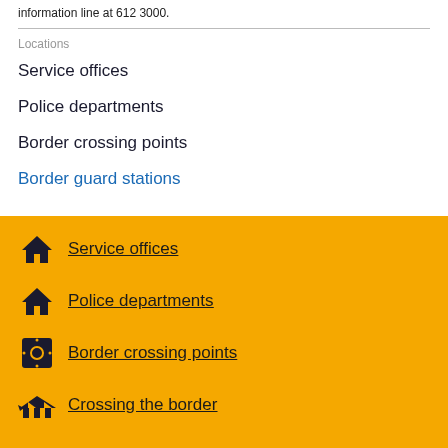information line at 612 3000.
Locations
Service offices
Police departments
Border crossing points
Border guard stations
Service offices
Police departments
Border crossing points
Crossing the border